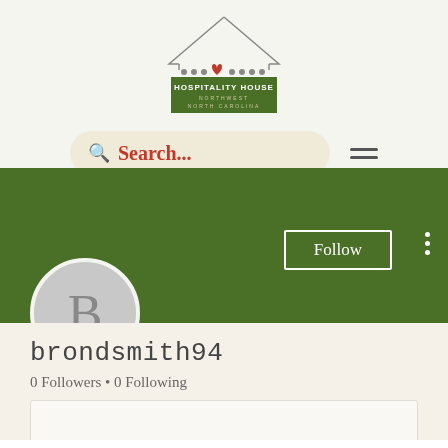[Figure (logo): Hospitality House Northwest North Carolina logo with house outline and red heart, green rectangular banner below with white text]
[Figure (screenshot): Search bar with magnifying glass icon and red text 'Search...' on cream rounded pill background, with hamburger menu icon to the right]
[Figure (screenshot): Green profile banner with Follow button (white outlined) and three-dot menu on right]
[Figure (illustration): Circular profile avatar placeholder with letter B in gray]
brondsmith94
0 Followers • 0 Following
[Figure (screenshot): White card section with chevron/arrow down icon on right]